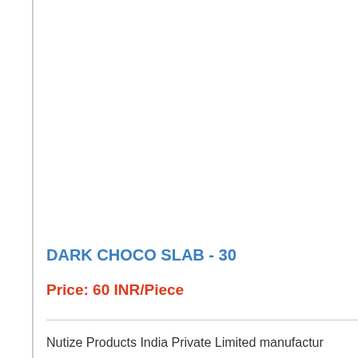DARK CHOCO SLAB - 30
Price: 60 INR/Piece
Nutize Products India Private Limited manufactur